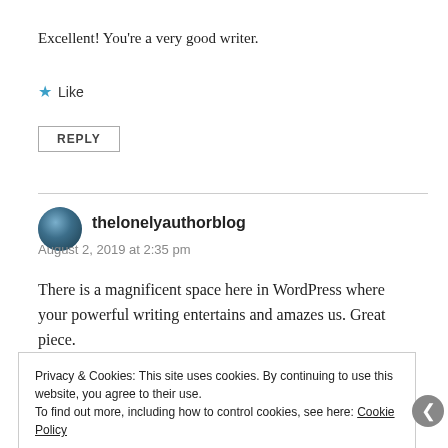Excellent! You're a very good writer.
★ Like
REPLY
thelonelyauthorblog
August 2, 2019 at 2:35 pm
There is a magnificent space here in WordPress where your powerful writing entertains and amazes us. Great piece.
Privacy & Cookies: This site uses cookies. By continuing to use this website, you agree to their use.
To find out more, including how to control cookies, see here: Cookie Policy
Close and accept